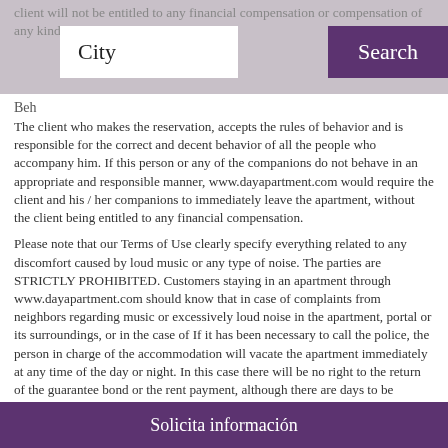client will not be entitled to any financial compensation or compensation of any kind.
Beh
The client who makes the reservation, accepts the rules of behavior and is responsible for the correct and decent behavior of all the people who accompany him. If this person or any of the companions do not behave in an appropriate and responsible manner, www.dayapartment.com would require the client and his / her companions to immediately leave the apartment, without the client being entitled to any financial compensation.
Please note that our Terms of Use clearly specify everything related to any discomfort caused by loud music or any type of noise. The parties are STRICTLY PROHIBITED. Customers staying in an apartment through www.dayapartment.com should know that in case of complaints from neighbors regarding music or excessively loud noise in the apartment, portal or its surroundings, or in the case of If it has been necessary to call the police, the person in charge of the accommodation will vacate the apartment immediately at any time of the day or night. In this case there will be no right to the return of the guarantee bond or the rent payment, although there are days to be enjoyed. Please also bear in
Solicita información